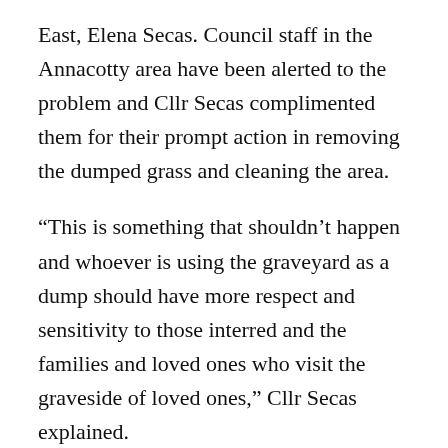East, Elena Secas. Council staff in the Annacotty area have been alerted to the problem and Cllr Secas complimented them for their prompt action in removing the dumped grass and cleaning the area.
“This is something that shouldn’t happen and whoever is using the graveyard as a dump should have more respect and sensitivity to those interred and the families and loved ones who visit the graveside of loved ones,” Cllr Secas explained.
“The cemetery is beautifully kept and with the backdrop of the old church building this illegal dumping is a very sad turn of events and it is not a